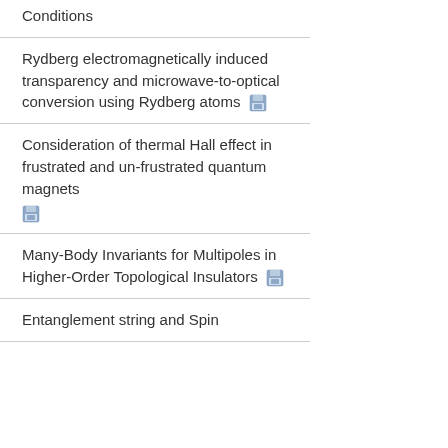Conditions
Rydberg electromagnetically induced transparency and microwave-to-optical conversion using Rydberg atoms
Consideration of thermal Hall effect in frustrated and un-frustrated quantum magnets
Many-Body Invariants for Multipoles in Higher-Order Topological Insulators
Entanglement string and Spin